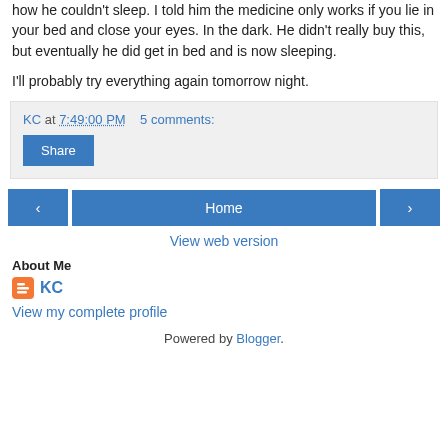how he couldn't sleep. I told him the medicine only works if you lie in your bed and close your eyes. In the dark. He didn't really buy this, but eventually he did get in bed and is now sleeping.

I'll probably try everything again tomorrow night.
KC at 7:49:00 PM   5 comments:
Share
‹   Home   ›
View web version
About Me
KC
View my complete profile
Powered by Blogger.